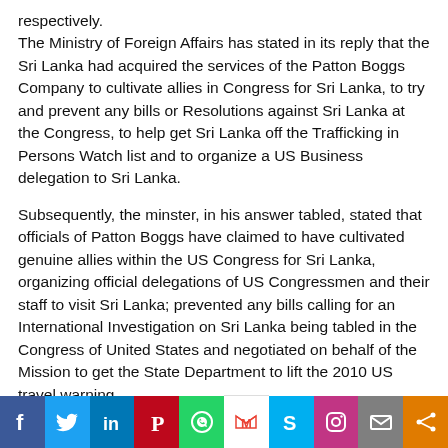respectively.
The Ministry of Foreign Affairs has stated in its reply that the Sri Lanka had acquired the services of the Patton Boggs Company to cultivate allies in Congress for Sri Lanka, to try and prevent any bills or Resolutions against Sri Lanka at the Congress, to help get Sri Lanka off the Trafficking in Persons Watch list and to organize a US Business delegation to Sri Lanka.
Subsequently, the minster, in his answer tabled, stated that officials of Patton Boggs have claimed to have cultivated genuine allies within the US Congress for Sri Lanka, organizing official delegations of US Congressmen and their staff to visit Sri Lanka; prevented any bills calling for an International Investigation on Sri Lanka being tabled in the Congress of United States and negotiated on behalf of the Mission to get the State Department to lift the 2010 US travel warning
[Figure (infographic): Social media share bar with icons for Facebook, Twitter, LinkedIn, Pinterest, WhatsApp, Gmail, Skype, Instagram, Email, and Share]